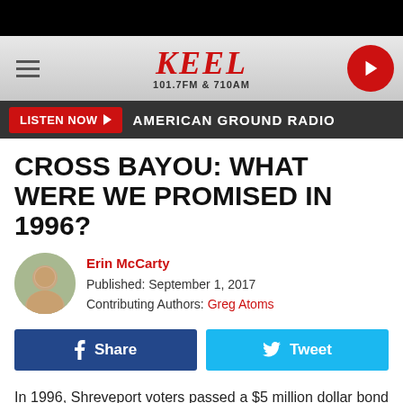[Figure (logo): KEEL 101.7FM & 710AM radio station header with hamburger menu, logo, and play button]
LISTEN NOW ▶  AMERICAN GROUND RADIO
CROSS BAYOU: WHAT WERE WE PROMISED IN 1996?
Erin McCarty
Published: September 1, 2017
Contributing Authors: Greg Atoms
Share  Tweet
In 1996, Shreveport voters passed a $5 million dollar bond issue for Cross Bayou development. But what were we